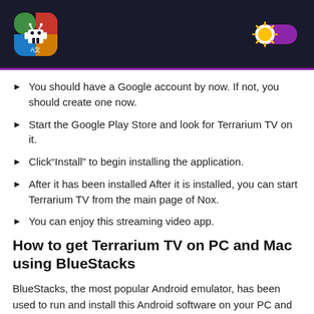App icon and toggle switch header
You should have a Google account by now. If not, you should create one now.
Start the Google Play Store and look for Terrarium TV on it.
Click“Install” to begin installing the application.
After it has been installed After it is installed, you can start Terrarium TV from the main page of Nox.
You can enjoy this streaming video app.
How to get Terrarium TV on PC and Mac using BlueStacks
BlueStacks, the most popular Android emulator, has been used to run and install this Android software on your PC and Mac. BlueStacks will outperform other emulators in terms of performance and quality. Follow these instructions if you want